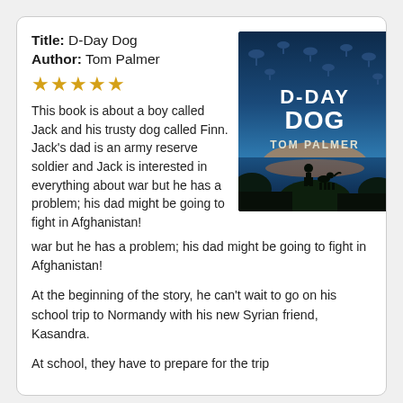Title: D-Day Dog
Author: Tom Palmer
[Figure (illustration): Book cover of D-Day Dog by Tom Palmer — atmospheric blue-toned military scene with a boy and dog silhouetted at water's edge, parachutes in sky above, large white title text 'D-DAY DOG' and 'TOM PALMER']
★★★★★
This book is about a boy called Jack and his trusty dog called Finn. Jack's dad is an army reserve soldier and Jack is interested in everything about war but he has a problem; his dad might be going to fight in Afghanistan!
At the beginning of the story, he can't wait to go on his school trip to Normandy with his new Syrian friend, Kasandra.
At school, they have to prepare for the trip